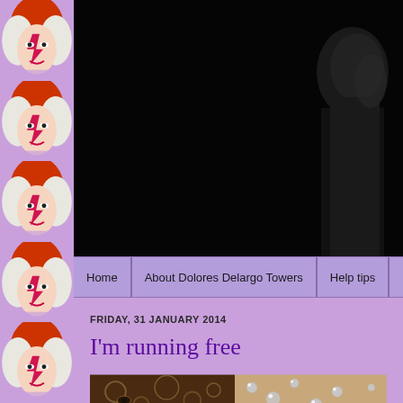[Figure (photo): Left sidebar with repeating David Bowie Ziggy Stardust album cover tiles in purple background]
[Figure (photo): Large dark/black and white header photo of a person]
Home | About Dolores Delargo Towers | Help tips | M...
FRIDAY, 31 JANUARY 2014
I'm running free
[Figure (photo): Two images side by side: left shows eyes/bubbles, right shows water droplets on surface]